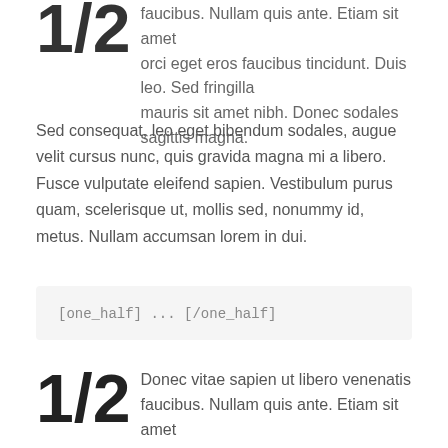1/2 faucibus. Nullam quis ante. Etiam sit amet orci eget eros faucibus tincidunt. Duis leo. Sed fringilla mauris sit amet nibh. Donec sodales sagittis magna.
Sed consequat, leo eget bibendum sodales, augue velit cursus nunc, quis gravida magna mi a libero. Fusce vulputate eleifend sapien. Vestibulum purus quam, scelerisque ut, mollis sed, nonummy id, metus. Nullam accumsan lorem in dui.
[one_half] ... [/one_half]
1/2 Donec vitae sapien ut libero venenatis faucibus. Nullam quis ante. Etiam sit amet